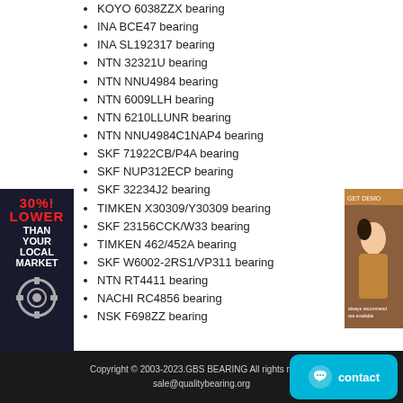KOYO 6038ZZX bearing
INA BCE47 bearing
INA SL192317 bearing
NTN 32321U bearing
NTN NNU4984 bearing
NTN 6009LLH bearing
NTN 6210LLUNR bearing
NTN NNU4984C1NAP4 bearing
SKF 71922CB/P4A bearing
SKF NUP312ECP bearing
SKF 32234J2 bearing
TIMKEN X30309/Y30309 bearing
SKF 23156CCK/W33 bearing
TIMKEN 462/452A bearing
SKF W6002-2RS1/VP311 bearing
NTN RT4411 bearing
NACHI RC4856 bearing
NSK F698ZZ bearing
[Figure (infographic): Side banner: dark background with '30% LOWER THAN YOUR LOCAL MARKET' in red and white text, with a gear/bearing image at bottom]
[Figure (photo): Advertisement photo of a woman on brown background]
Copyright © 2003-2023.GBS BEARING All rights reserved   sale@qualitybearing.org